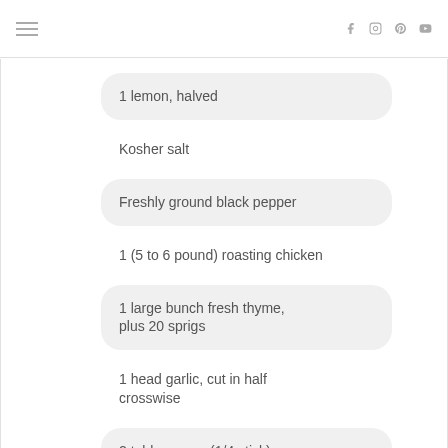≡  f  ig  p  ▶
1 lemon, halved
Kosher salt
Freshly ground black pepper
1 (5 to 6 pound) roasting chicken
1 large bunch fresh thyme, plus 20 sprigs
1 head garlic, cut in half crosswise
2 tablespoons (1/4 stick) butter, melted
Olive oil